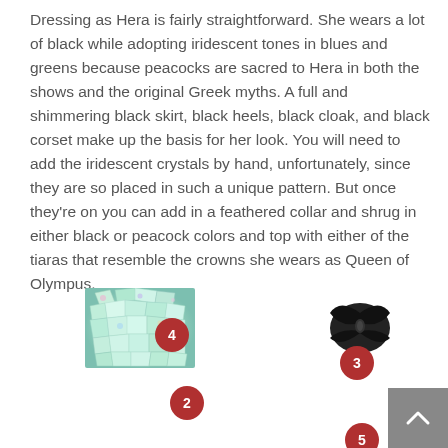Dressing as Hera is fairly straightforward. She wears a lot of black while adopting iridescent tones in blues and greens because peacocks are sacred to Hera in both the shows and the original Greek myths. A full and shimmering black skirt, black heels, black cloak, and black corset make up the basis for her look. You will need to add the iridescent crystals by hand, unfortunately, since they are so placed in such a unique pattern. But once they're on you can add in a feathered collar and shrug in either black or peacock colors and top with either of the tiaras that resemble the crowns she wears as Queen of Olympus.
[Figure (infographic): Product collage showing numbered costume items: iridescent crystals (4), black corset/bustier (3), black heel shoe (no number visible), jeweled tiara (7), and additional numbered items below: 2, 1, 8, 5, and partially visible 6, with a back-to-top button in the lower right corner.]